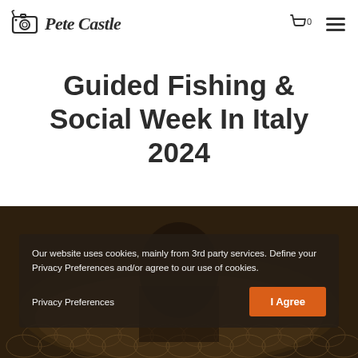Pete Castle — navigation bar with logo, cart (0), and menu icon
Guided Fishing & Social Week In Italy 2024
[Figure (photo): Dark photograph of a large carp fish with scales visible, partially obscured by cookie consent overlay]
Our website uses cookies, mainly from 3rd party services. Define your Privacy Preferences and/or agree to our use of cookies.
Privacy Preferences
I Agree